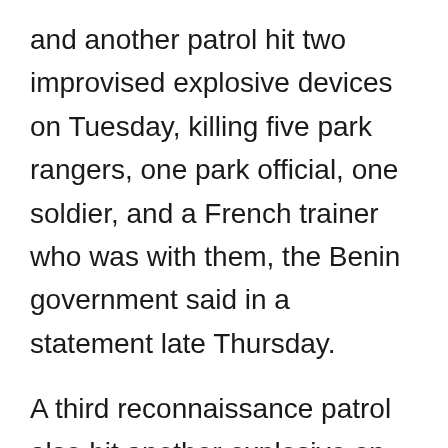and another patrol hit two improvised explosive devices on Tuesday, killing five park rangers, one park official, one soldier, and a French trainer who was with them, the Benin government said in a statement late Thursday.
A third reconnaissance patrol also hit another explosive on Thursday, killing another African Parks official, it said.
“The government wishes to reassure the population that… our strategy will secure this